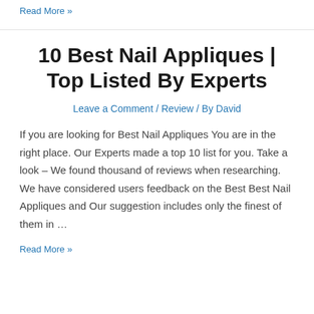Read More »
10 Best Nail Appliques | Top Listed By Experts
Leave a Comment / Review / By David
If you are looking for Best Nail Appliques You are in the right place. Our Experts made a top 10 list for you. Take a look – We found thousand of reviews when researching. We have considered users feedback on the Best Best Nail Appliques and Our suggestion includes only the finest of them in …
Read More »